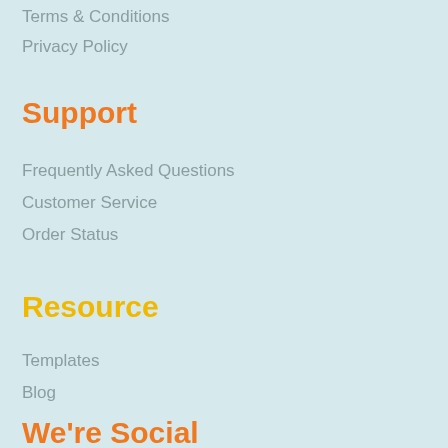Terms & Conditions
Privacy Policy
Support
Frequently Asked Questions
Customer Service
Order Status
Resource
Templates
Blog
We're Social